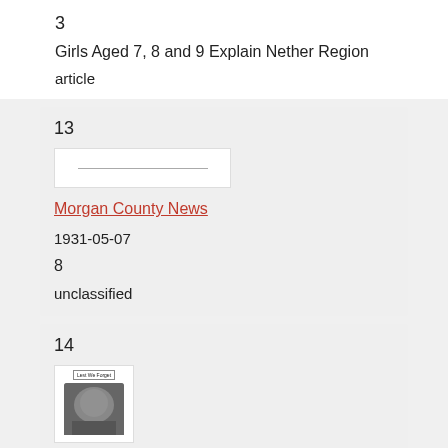3
Girls Aged 7, 8 and 9 Explain Nether Region
article
13
[Figure (other): Thumbnail image placeholder with a thin horizontal line]
Morgan County News
1931-05-07
8
unclassified
14
[Figure (photo): Small thumbnail image showing a newspaper clipping with 'Lest We Forget' header and a photograph below it]